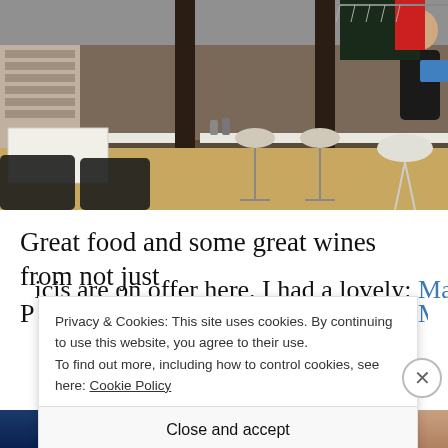[Figure (photo): Interior of a modern restaurant/bar with bar stools along a counter, white modern chairs, wooden floor, dark pillars, and a bartender visible in the background]
Great food and some great wines from not just
Picis are on offer here. I had a lovely: Mancie
Privacy & Cookies: This site uses cookies. By continuing to use this website, you agree to their use.
To find out more, including how to control cookies, see here: Cookie Policy
Close and accept